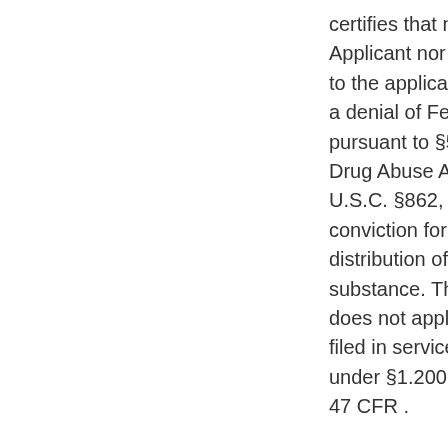certifies that neither the Applicant nor any other party to the application is subject to a denial of Federal benefits pursuant to §5301 of the Anti-Drug Abuse Act of 1988, 21 U.S.C. §862, because of a conviction for possession or distribution of a controlled substance. This certification does not apply to applications filed in services exempted under §1.2002(c) of the rules, 47 CFR .